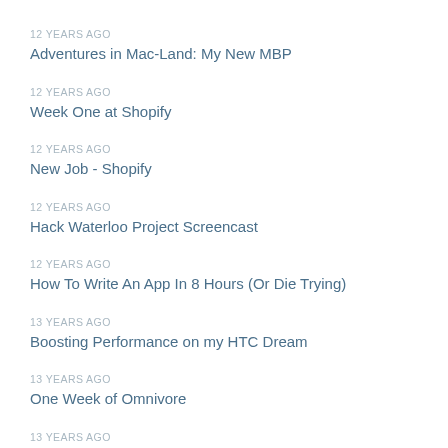12 YEARS AGO
Adventures in Mac-Land: My New MBP
12 YEARS AGO
Week One at Shopify
12 YEARS AGO
New Job - Shopify
12 YEARS AGO
Hack Waterloo Project Screencast
12 YEARS AGO
How To Write An App In 8 Hours (Or Die Trying)
13 YEARS AGO
Boosting Performance on my HTC Dream
13 YEARS AGO
One Week of Omnivore
13 YEARS AGO
Against the Android Action Bar